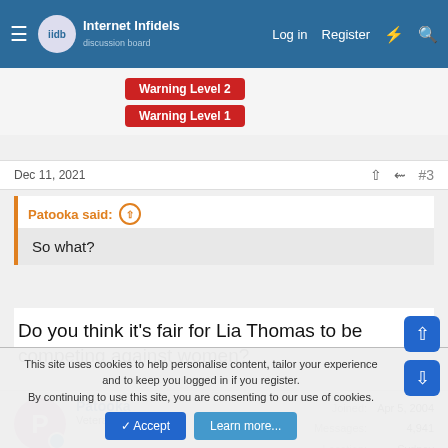Internet Infidels — Log in | Register
Warning Level 2
Warning Level 1
Dec 11, 2021  #3
Patooka said:  So what?
Do you think it's fair for Lia Thomas to be competing against women?
Patooka — Veteran Member — Joined: Apr 5, 2004 — Messages: 4,941 — Location: Sydney — Basic Beliefs: aaa
This site uses cookies to help personalise content, tailor your experience and to keep you logged in if you register. By continuing to use this site, you are consenting to our use of cookies.